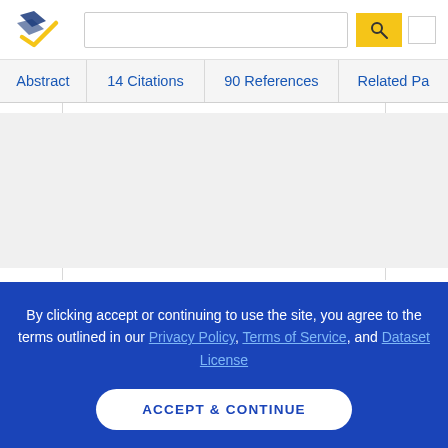[Figure (logo): Semantic Scholar logo - stylized navy and gold checkmark/book pages icon]
Abstract | 14 Citations | 90 References | Related Pa
≡ View 1 excerpt
Behavioural and neurophysiological evidence for face identity and face emotion processing in animals
A. Tate, Hanno Fischer, A. Leigh, K. Kendrick
Biology, Psychology ·
By clicking accept or continuing to use the site, you agree to the terms outlined in our Privacy Policy, Terms of Service, and Dataset License
ACCEPT & CONTINUE